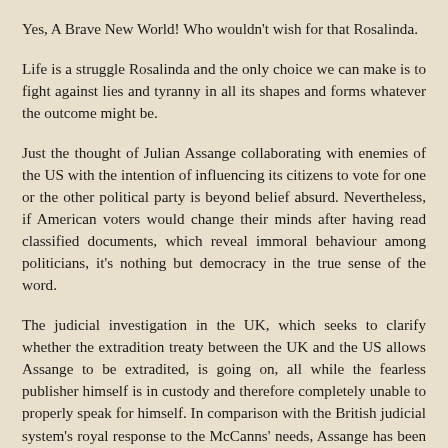Yes, A Brave New World! Who wouldn't wish for that Rosalinda.
Life is a struggle Rosalinda and the only choice we can make is to fight against lies and tyranny in all its shapes and forms whatever the outcome might be.
Just the thought of Julian Assange collaborating with enemies of the US with the intention of influencing its citizens to vote for one or the other political party is beyond belief absurd. Nevertheless, if American voters would change their minds after having read classified documents, which reveal immoral behaviour among politicians, it's nothing but democracy in the true sense of the word.
The judicial investigation in the UK, which seeks to clarify whether the extradition treaty between the UK and the US allows Assange to be extradited, is going on, all while the fearless publisher himself is in custody and therefore completely unable to properly speak for himself. In comparison with the British judicial system's royal response to the McCanns' needs, Assange has been treated like a